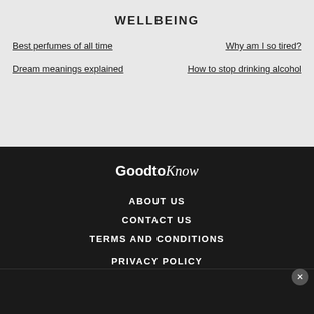WELLBEING
Best perfumes of all time
Why am I so tired?
Dream meanings explained
How to stop drinking alcohol
[Figure (logo): GoodtoKnow logo in white text on dark background]
ABOUT US
CONTACT US
TERMS AND CONDITIONS
PRIVACY POLICY